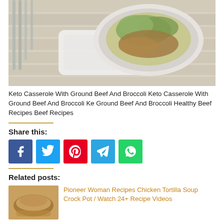[Figure (photo): Food photo showing a bowl of keto casserole with ground beef and broccoli, with forks and a white casserole dish on a weathered white wood surface]
Keto Casserole With Ground Beef And Broccoli Keto Casserole With Ground Beef And Broccoli Ke Ground Beef And Broccoli Healthy Beef Recipes Beef Recipes
Share this:
[Figure (other): Social share buttons: Facebook (blue), Twitter (light blue), Pinterest (red), Telegram (blue), WhatsApp (green)]
Related posts:
[Figure (photo): Thumbnail image of chicken tortilla soup in a bowl]
Pioneer Woman Recipes Chicken Tortilla Soup Crock Pot / Watch 24+ Recipe Videos